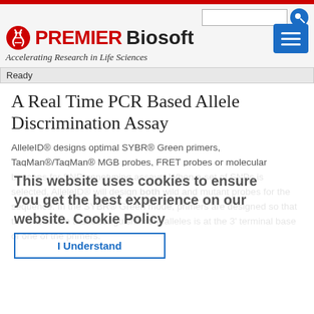PREMIER Biosoft — Accelerating Research in Life Sciences
A Real Time PCR Based Allele Discrimination Assay
AlleleID® designs optimal SYBR® Green primers, TaqMan®/TaqMan® MGB probes, FRET probes or molecular beacons for SNP genotyping assays. When a set of SNPs is selected, AlleleID® will design both wild and mutant probes for the sequence. In the SYBR® Green mode, primers are designed so that the nucleotide that distinguishes the alleles is at the 3' terminal base of one of the primers.
This website uses cookies to ensure you get the best experience on our website. Cookie Policy
I Understand
For TaqMan®/MGB probes, FRET or molecular beacons assay, probes are designed so that the nucleotide that distinguishes the alleles is located at or near to center of the probe.